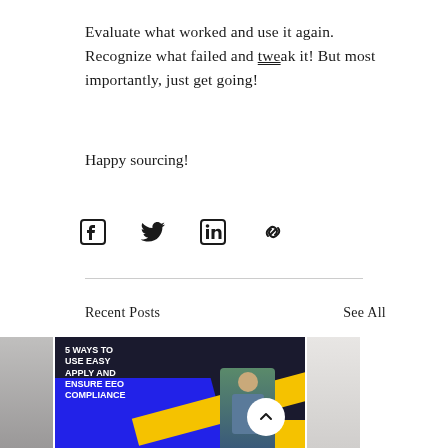Evaluate what worked and use it again. Recognize what failed and tweak it! But most importantly, just get going!
Happy sourcing!
[Figure (infographic): Social sharing icons: Facebook, Twitter, LinkedIn, link/chain icon]
Recent Posts
See All
[Figure (photo): Three post thumbnails in a row: partial left image (office/desk scene), center image with text '5 WAYS TO USE EASY APPLY AND ENSURE EEO COMPLIANCE' on dark background with blue and yellow diagonal stripes and a woman looking at phone, partial right image (light/white background)]